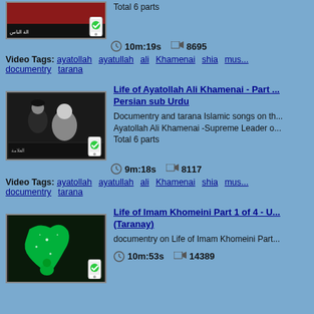Total 6 parts
10m:19s   8695
Video Tags: ayatollah  ayatullah  ali  Khamenai  shia  mus...  documentry  tarana
Life of Ayatollah Ali Khamenai - Part ... Persian sub Urdu
Documentry and tarana Islamic songs on th... Ayatollah Ali Khamenai -Supreme Leader o... Total 6 parts
9m:18s   8117
Video Tags: ayatollah  ayatullah  ali  Khamenai  shia  mus...  documentry  tarana
Life of Imam Khomeini Part 1 of 4 - U... (Taranay)
documentry on Life of Imam Khomeini Part...
10m:53s   14389